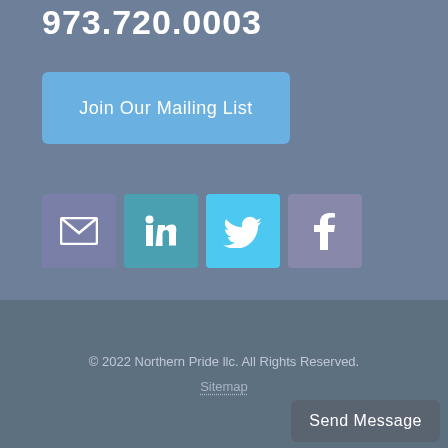973.720.0003
Join Our Mailing List
[Figure (infographic): Four social media icon buttons: email (envelope), LinkedIn, Twitter (bird), Facebook]
© 2022 Northern Pride llc. All Rights Reserved.
Sitemap
Send Message